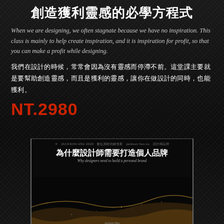創造獲利靈感的必學方程式
When we are designing, we often stagnate because we have no inspiration. This class is mainly to help create inspiration, and it is inspiration for profit, so that you can make a profit while designing.
我們在設計的時候，常常會因為沒有靈感而停滯不前。這堂課主要就是要幫助創造靈感，而且是獲利的靈感，讓你在做設計的同時，也能獲利。
NT.2980
[Figure (photo): Book cover image: 為什麼設計師需要打造個人品牌 / Why designers need to build a personal brand, by Jackson Hsu, with a dark background featuring gold/sand wave art]